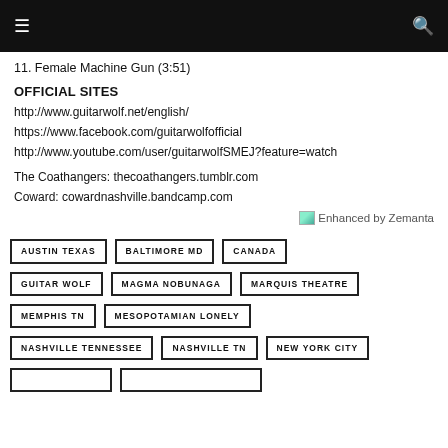≡  🔍
11. Female Machine Gun (3:51)
OFFICIAL SITES
http://www.guitarwolf.net/english/
https://www.facebook.com/guitarwolfofficial
http://www.youtube.com/user/guitarwolfSMEJ?feature=watch
The Coathangers: thecoathangers.tumblr.com
Coward: cowardnashville.bandcamp.com
[Figure (other): Enhanced by Zemanta badge/logo]
AUSTIN TEXAS
BALTIMORE MD
CANADA
GUITAR WOLF
MAGMA NOBUNAGA
MARQUIS THEATRE
MEMPHIS TN
MESOPOTAMIAN LONELY
NASHVILLE TENNESSEE
NASHVILLE TN
NEW YORK CITY